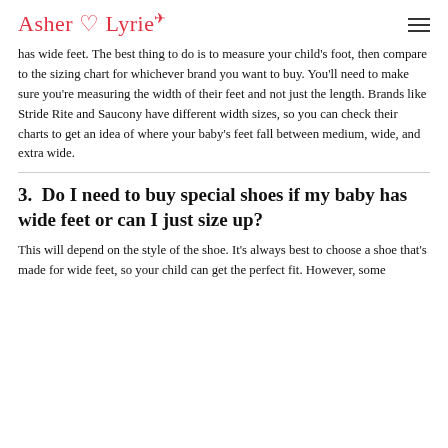Asher & Lyrie
has wide feet. The best thing to do is to measure your child's foot, then compare to the sizing chart for whichever brand you want to buy. You'll need to make sure you're measuring the width of their feet and not just the length. Brands like Stride Rite and Saucony have different width sizes, so you can check their charts to get an idea of where your baby's feet fall between medium, wide, and extra wide.
3.  Do I need to buy special shoes if my baby has wide feet or can I just size up?
This will depend on the style of the shoe. It's always best to choose a shoe that's made for wide feet, so your child can get the perfect fit. However, some